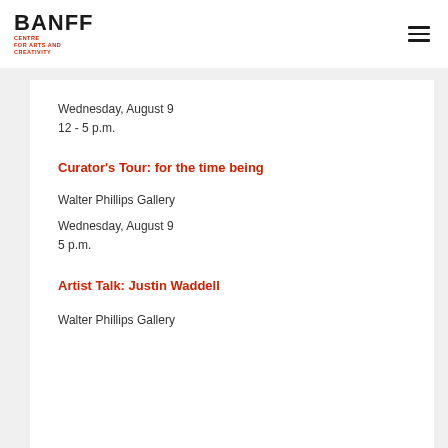BANFF CENTRE FOR ARTS AND CREATIVITY
Wednesday, August 9
12 - 5 p.m.
Curator's Tour: for the time being
Walter Phillips Gallery
Wednesday, August 9
5 p.m.
Artist Talk: Justin Waddell
Walter Phillips Gallery